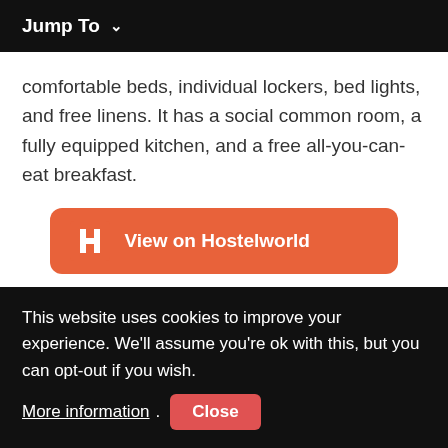Jump To
comfortable beds, individual lockers, bed lights, and free linens. It has a social common room, a fully equipped kitchen, and a free all-you-can-eat breakfast.
[Figure (other): Orange button with Hostelworld logo and text 'View on Hostelworld']
Best Hotel in Calgary: Hotel Arts Kensington
This website uses cookies to improve your experience. We'll assume you're ok with this, but you can opt-out if you wish. More information. Close